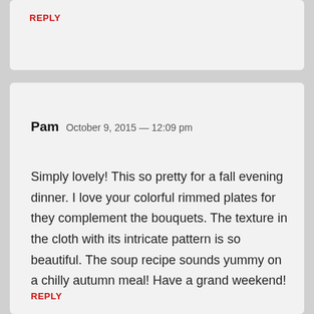REPLY
Pam   October 9, 2015 — 12:09 pm
Simply lovely! This so pretty for a fall evening dinner. I love your colorful rimmed plates for they complement the bouquets. The texture in the cloth with its intricate pattern is so beautiful. The soup recipe sounds yummy on a chilly autumn meal! Have a grand weekend!
REPLY